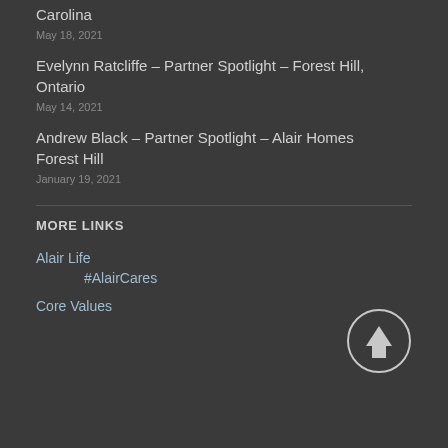Colby Hubble – Partner Spotlight – Greenville, South Carolina
May 18, 2021
Evelynn Ratcliffe – Partner Spotlight – Forest Hill, Ontario
May 14, 2021
Andrew Black – Partner Spotlight – Alair Homes Forest Hill
January 19, 2021
MORE LINKS
Alair Life
#AlairCares
Core Values